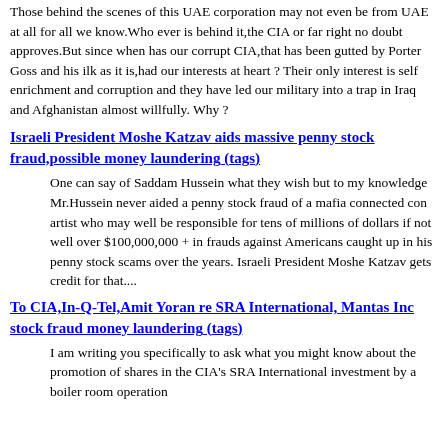Those behind the scenes of this UAE corporation may not even be from UAE at all for all we know.Who ever is behind it,the CIA or far right no doubt approves.But since when has our corrupt CIA,that has been gutted by Porter Goss and his ilk as it is,had our interests at heart ? Their only interest is self enrichment and corruption and they have led our military into a trap in Iraq and Afghanistan almost willfully. Why ?
Israeli President Moshe Katzav aids massive penny stock fraud,possible money laundering (tags)
One can say of Saddam Hussein what they wish but to my knowledge Mr.Hussein never aided a penny stock fraud of a mafia connected con artist who may well be responsible for tens of millions of dollars if not well over $100,000,000 + in frauds against Americans caught up in his penny stock scams over the years. Israeli President Moshe Katzav gets credit for that....
To CIA,In-Q-Tel,Amit Yoran re SRA International, Mantas Inc stock fraud money laundering (tags)
I am writing you specifically to ask what you might know about the promotion of shares in the CIA's SRA International investment by a boiler room operation